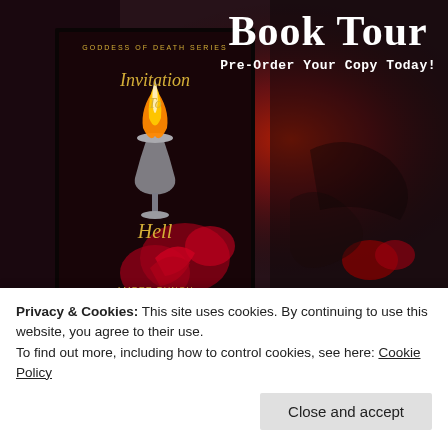[Figure (illustration): Dark red and maroon background with dramatic lighting, featuring a book cover for 'Invitation To Hell' by Amber Bunch from the Goddess of Death Series. The book cover shows a burning chalice with red roses against a dark background. The background image behind the book has red and dark smoky atmospheric elements.]
Book Tour
Pre-Order Your Copy Today!
R&R Book Tours
Privacy & Cookies: This site uses cookies. By continuing to use this website, you agree to their use.
To find out more, including how to control cookies, see here: Cookie Policy
Close and accept